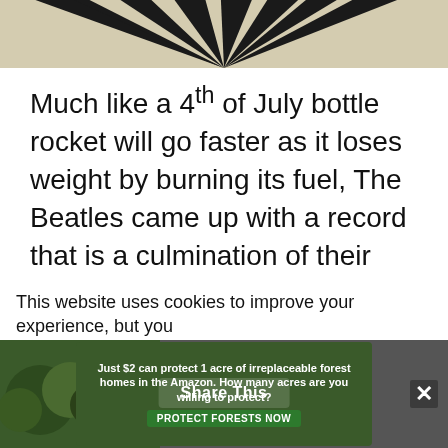[Figure (photo): Partial view of a black and white striped image, likely the Abbey Road zebra crossing, cropped at the top of the page.]
Much like a 4th of July bottle rocket will go faster as it loses weight by burning its fuel, The Beatles came up with a record that is a culmination of their personal and group growth and evolution. It is truly a masterpiece.
But even they knew it was their last effort as Beatles.
This website uses cookies to improve your experience, but you
[Figure (infographic): Advertisement banner: 'Just $2 can protect 1 acre of irreplaceable forest homes in the Amazon. How many acres are you willing to protect?' with a Protect Forests Now button and a Share This overlay button, and a close X button.]